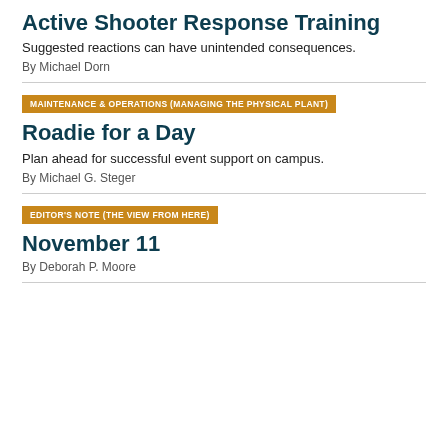Active Shooter Response Training
Suggested reactions can have unintended consequences.
By Michael Dorn
MAINTENANCE & OPERATIONS (MANAGING THE PHYSICAL PLANT)
Roadie for a Day
Plan ahead for successful event support on campus.
By Michael G. Steger
EDITOR'S NOTE (THE VIEW FROM HERE)
November 11
By Deborah P. Moore